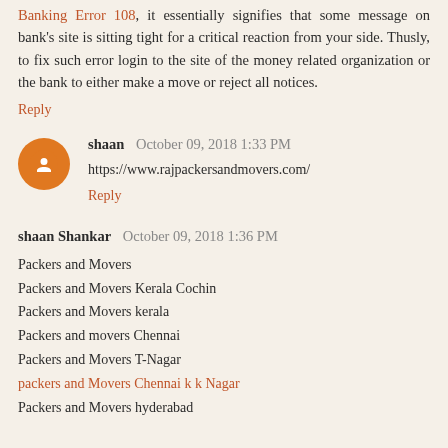Banking Error 108, it essentially signifies that some message on bank's site is sitting tight for a critical reaction from your side. Thusly, to fix such error login to the site of the money related organization or the bank to either make a move or reject all notices.
Reply
shaan  October 09, 2018 1:33 PM
https://www.rajpackersandmovers.com/
Reply
shaan Shankar  October 09, 2018 1:36 PM
Packers and Movers
Packers and Movers Kerala Cochin
Packers and Movers kerala
Packers and movers Chennai
Packers and Movers T-Nagar
packers and Movers Chennai k k Nagar
Packers and Movers hyderabad